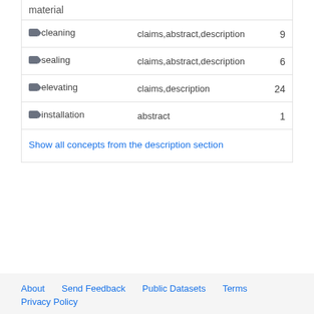| Concept | Sections | Count |
| --- | --- | --- |
| material |  |  |
| cleaning | claims,abstract,description | 9 |
| sealing | claims,abstract,description | 6 |
| elevating | claims,description | 24 |
| installation | abstract | 1 |
Show all concepts from the description section
About  Send Feedback  Public Datasets  Terms  Privacy Policy